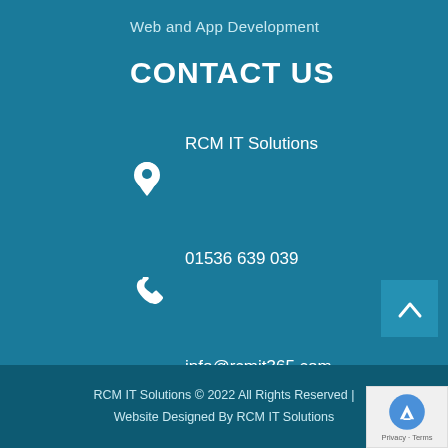Web and App Development
CONTACT US
RCM IT Solutions
01536 639 039
info@rcmit365.com
www.rcmit365.com
RCM IT Solutions © 2022 All Rights Reserved | Website Designed By RCM IT Solutions